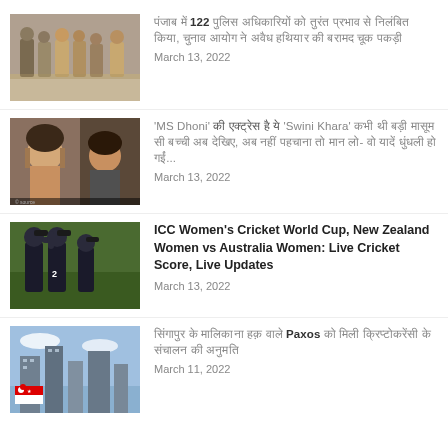[Figure (photo): Police officers walking in a group outdoors]
पंजाब में 122 पुलिस अधिकारियों को तुरंत प्रभाव से निलंबित किया, चुनाव आयोग ने अवैध हथियार की बरामद चूक पकड़ी
March 13, 2022
[Figure (photo): Scene from MS Dhoni movie featuring Swini Khara]
'MS Dhoni' की एक्ट्रेस है ये 'Swini Khara' कभी थी बड़ी मासूम सी बच्ची अब देखिए, अब नहीं पहचाना तो मान लो- वो यादें धुंधली हो गईं...
March 13, 2022
[Figure (photo): Women cricketers celebrating on field]
ICC Women's Cricket World Cup, New Zealand Women vs Australia Women: Live Cricket Score, Live Updates
March 13, 2022
[Figure (photo): Singapore skyline with flag]
सिंगापुर के मालिकाना हक़ वाले Paxos को मिली क्रिप्टोकरेंसी के संचालन की अनुमति
March 11, 2022